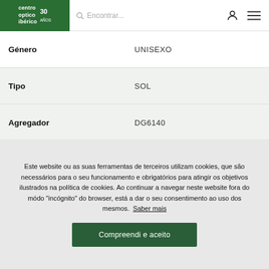[Figure (logo): Centro Optico Ibérico logo with 30 years anniversary badge, white text on green background]
| Género | UNISEXO |
| Tipo | SOL |
| Agregador | DG6140 |
Este website ou as suas ferramentas de terceiros utilizam cookies, que são necessários para o seu funcionamento e obrigatórios para atingir os objetivos ilustrados na política de cookies. Ao continuar a navegar neste website fora do módo "incógnito" do browser, está a dar o seu consentimento ao uso dos mesmos. Saber mais
Compreendi e aceito